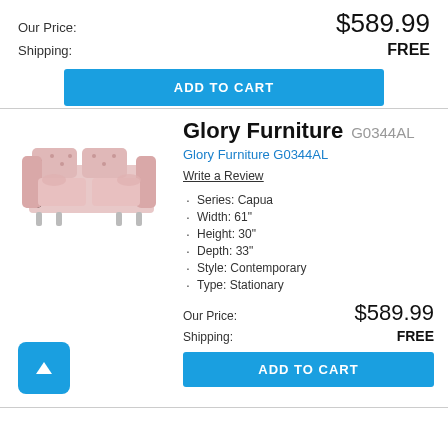Our Price: $589.99
Shipping: FREE
ADD TO CART
Glory Furniture G0344AL
Glory Furniture G0344AL
Write a Review
Series: Capua
Width: 61"
Height: 30"
Depth: 33"
Style: Contemporary
Type: Stationary
Our Price: $589.99
Shipping: FREE
ADD TO CART